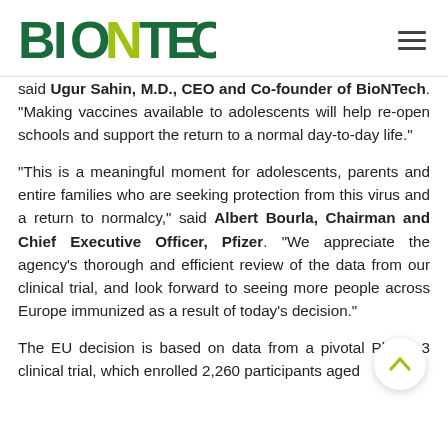BioNTech
said Ugur Sahin, M.D., CEO and Co-founder of BioNTech. "Making vaccines available to adolescents will help re-open schools and support the return to a normal day-to-day life."
"This is a meaningful moment for adolescents, parents and entire families who are seeking protection from this virus and a return to normalcy," said Albert Bourla, Chairman and Chief Executive Officer, Pfizer. "We appreciate the agency's thorough and efficient review of the data from our clinical trial, and look forward to seeing more people across Europe immunized as a result of today's decision."
The EU decision is based on data from a pivotal Phase 3 clinical trial, which enrolled 2,260 participants aged